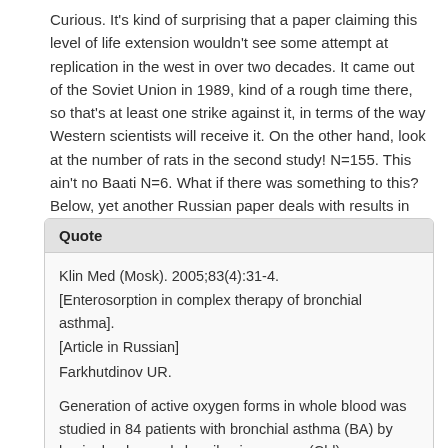Curious. It's kind of surprising that a paper claiming this level of life extension wouldn't see some attempt at replication in the west in over two decades. It came out of the Soviet Union in 1989, kind of a rough time there, so that's at least one strike against it, in terms of the way Western scientists will receive it. On the other hand, look at the number of rats in the second study! N=155. This ain't no Baati N=6. What if there was something to this? Below, yet another Russian paper deals with results in humans.
Quote
Klin Med (Mosk). 2005;83(4):31-4.
[Enterosorption in complex therapy of bronchial asthma].
[Article in Russian]
Farkhutdinov UR.

Generation of active oxygen forms in whole blood was studied in 84 patients with bronchial asthma (BA) by luminol-enhanced chemiluminescence (Chl) registration. Chl intensity depended on inflammatory process expression; groups of patients with high and low blood Chl (the 1st and the 2nd group, respectively) were distinguished. Enterosorption was used in complex therapy of 8 patients of the 1st group and 15 patients of the 2nd group. Indices of free radical